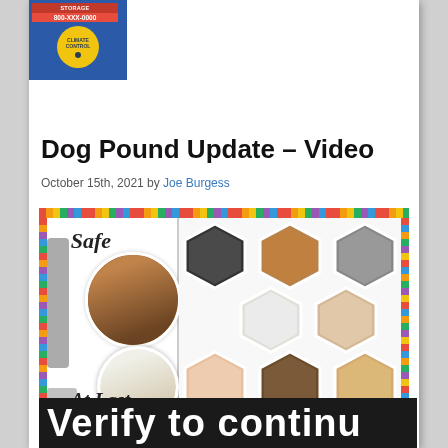[Figure (logo): Storage facility logo with red banner, phone number 800-XXX-0000, and yellow climate control circle badge]
Dog Pound Update – Video
October 15th, 2021 by Joe Burgess
[Figure (photo): Dog pound adoption photo collage showing 'Safe At Last' text on left panel with circular dog photos, and hexagonal grid of dogs and cats on right panel with colorful dotted border]
Verify to contin...